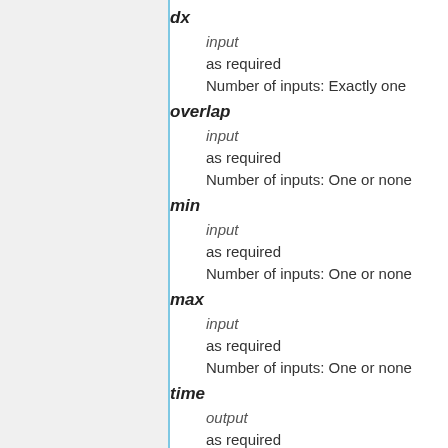dx
input
as required
Number of inputs: Exactly one
overlap
input
as required
Number of inputs: One or none
min
input
as required
Number of inputs: One or none
max
input
as required
Number of inputs: One or none
time
output
as required